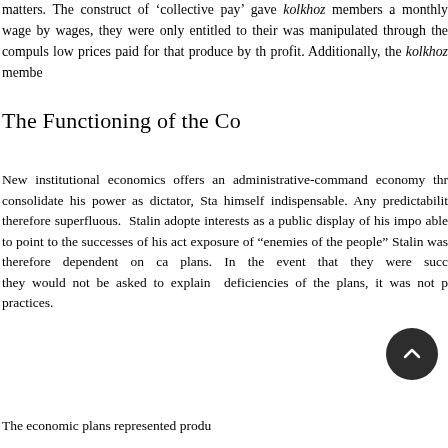matters. The construct of 'collective pay' gave kolkhoz members a monthly wage by wages, they were only entitled to their was manipulated through the compuls low prices paid for that produce by th profit. Additionally, the kolkhoz membe
The Functioning of the Co
New institutional economics offers an administrative-command economy thr consolidate his power as dictator, Sta himself indispensable. Any predictabilit therefore superfluous. Stalin adopte interests as a public display of his impo able to point to the successes of his act exposure of "enemies of the people" Stalin was therefore dependent on ca plans. In the event that they were succ they would not be asked to explain deficiencies of the plans, it was not p practices.
The economic plans represented produ